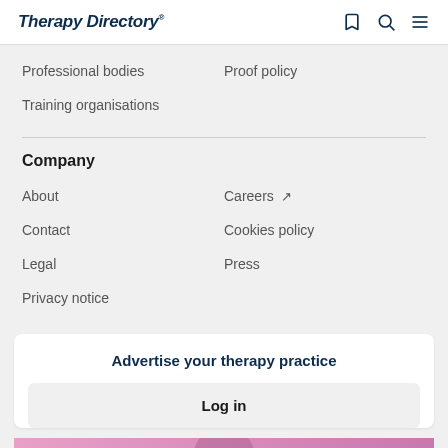Therapy Directory
Professional bodies
Proof policy
Training organisations
Company
About
Careers
Contact
Cookies policy
Legal
Press
Privacy notice
Advertise your therapy practice
Log in